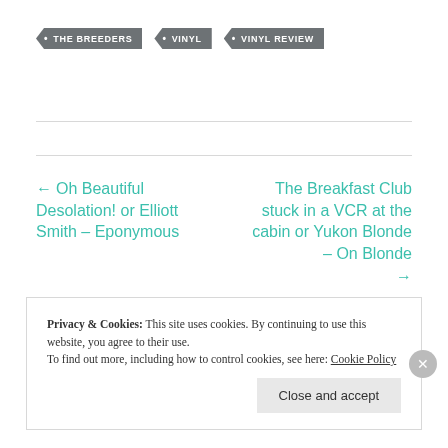• THE BREEDERS
• VINYL
• VINYL REVIEW
← Oh Beautiful Desolation! or Elliott Smith – Eponymous
The Breakfast Club stuck in a VCR at the cabin or Yukon Blonde – On Blonde →
Privacy & Cookies: This site uses cookies. By continuing to use this website, you agree to their use.
To find out more, including how to control cookies, see here: Cookie Policy
Close and accept